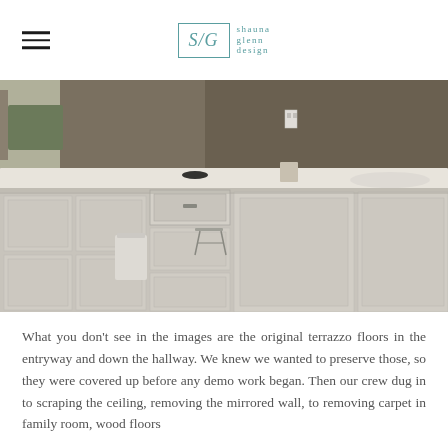S/G shauna glenn design
[Figure (photo): Before photo of a bathroom vanity with light grey/white cabinetry, long white countertop with two sinks, a large mirror, bar stool, white trash can, and tile floor.]
What you don't see in the images are the original terrazzo floors in the entryway and down the hallway. We knew we wanted to preserve those, so they were covered up before any demo work began. Then our crew dug in to scraping the ceiling, removing the mirrored wall, to removing carpet in family room, wood floors…